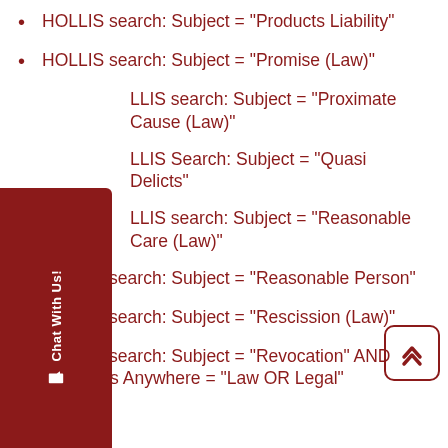HOLLIS search: Subject = "Products Liability"
HOLLIS search: Subject = "Promise (Law)"
HOLLIS search: Subject = "Proximate Cause (Law)"
HOLLIS Search: Subject = "Quasi Delicts"
HOLLIS search: Subject = "Reasonable Care (Law)"
HOLLIS search: Subject = "Reasonable Person"
HOLLIS search: Subject = "Rescission (Law)"
HOLLIS search: Subject = "Revocation" AND Keywords Anywhere = "Law OR Legal"